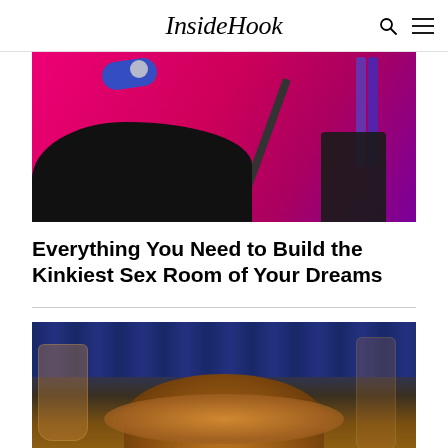InsideHook
[Figure (photo): Pink/magenta background with adult novelty items including a black foam wedge shape, blue tape roll, and purple straps/harness]
Everything You Need to Build the Kinkiest Sex Room of Your Dreams
[Figure (photo): Restaurant scene with a wine glass and a large garnished food item (sandwich or burger) in foreground, blue upholstered chairs in background]